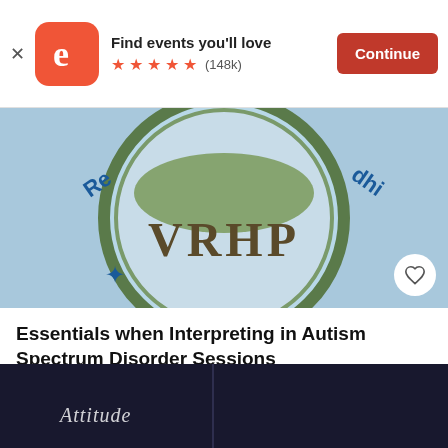[Figure (screenshot): Eventbrite app banner with logo, 'Find events you'll love', 5 orange stars, (148k) reviews, and a red Continue button]
[Figure (photo): VRHP circular seal/logo on blue background with text 'Re...' and '...dhi...' around the edge]
Essentials when Interpreting in Autism Spectrum Disorder Sessions
Fri, Sep 9, 2022 5:00 PM GMT
Free
[Figure (photo): Dark background image with handwritten 'Attitude' text visible]